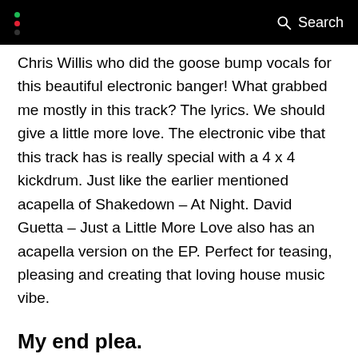Search
Chris Willis who did the goose bump vocals for this beautiful electronic banger! What grabbed me mostly in this track? The lyrics. We should give a little more love. The electronic vibe that this track has is really special with a 4 x 4 kickdrum. Just like the earlier mentioned acapella of Shakedown – At Night. David Guetta – Just a Little More Love also has an acapella version on the EP. Perfect for teasing, pleasing and creating that loving house music vibe.
My end plea.
I really hope you enjoyed my selections for Pacemaker. If you did, feel free to support us by sharing this post on your social channels. I could continue talking about music, and I